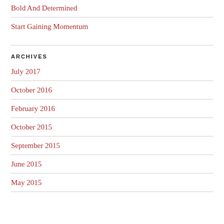Bold And Determined
Start Gaining Momentum
ARCHIVES
July 2017
October 2016
February 2016
October 2015
September 2015
June 2015
May 2015